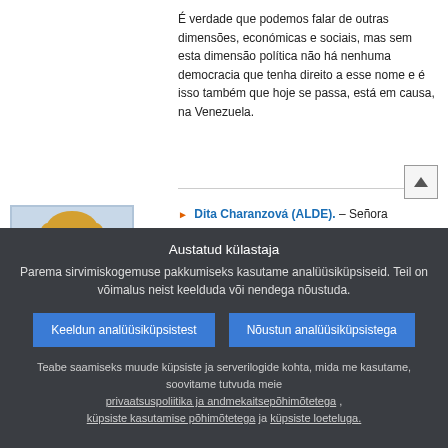É verdade que podemos falar de outras dimensões, económicas e sociais, mas sem esta dimensão política não há nenhuma democracia que tenha direito a esse nome e é isso também que hoje se passa, está em causa, na Venezuela.
[Figure (photo): Portrait photo of Dita Charanzová, female speaker with blonde hair, and a TV/speaker icon below]
Dita Charanzová (ALDE). – Señora Presidenta, aunque el mes de diciembre trajo nuevas esperanzas para la democracia en Venezuela, lo que hemos visto en las últimas semanas en Caracas es todo lo contrario. El Gobierno sigue rechazando la voz del pueblo al negar los poderes de la Asamblea recientemente elegida. Así no es como funciona una
Austatud külastaja
Parema sirvimiskogemuse pakkumiseks kasutame analüüsiküpsiseid. Teil on võimalus neist keelduda või nendega nõustuda.
Keeldun analüüsiküpsistest
Nõustun analüüsiküpsistega
Teabe saamiseks muude küpsiste ja serverilogide kohta, mida me kasutame, soovitame tutvuda meie privaatsuspoliitika ja andmekaitsepõhimõtetega , küpsiste kasutamise põhimõtetega ja küpsiste loeteluga.